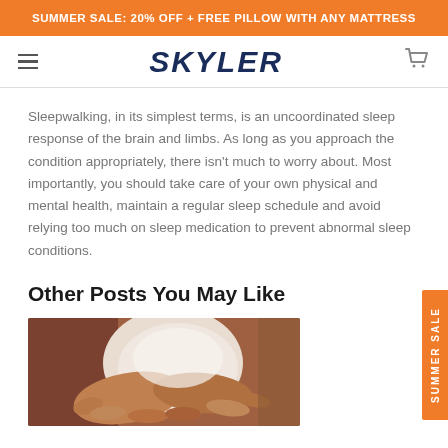SUMMER SALE: 20% OFF + FREE PILLOW WITH ANY MATTRESS
SKYLER
Sleepwalking, in its simplest terms, is an uncoordinated sleep response of the brain and limbs. As long as you approach the condition appropriately, there isn't much to worry about. Most importantly, you should take care of your own physical and mental health, maintain a regular sleep schedule and avoid relying too much on sleep medication to prevent abnormal sleep conditions.
Other Posts You May Like
[Figure (photo): Close-up photo of hands, appears to show someone holding or touching another person's hands, warm brown tones]